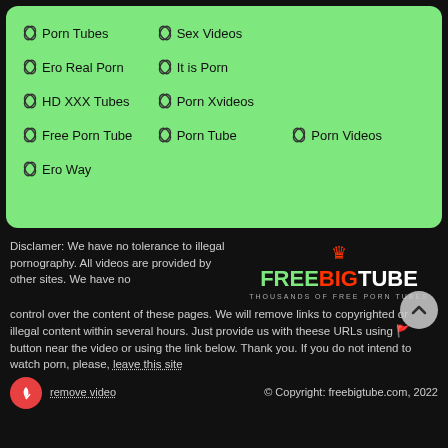🔗 Porn Tubes
🔗 Sex Videos
🔗 Ero Real Porn
🔗 It is Porn
🔗 HD XXX Tubes
🔗 Porn Xvideos
🔗 Free Porn Tube
🔗 Porn Tube
🔗 Porn Videos
🔗 Ero Way
Disclamer: We have no tolerance to illegal pornography. All videos are provided by other sites. We have no control over the content of these pages. We will remove links to copyrighted or illegal content within several hours. Just provide us with theese URLs using 🚩 button near the video or using the link below. Thank you. If you do not intend to watch porn, please, leave this site
[Figure (logo): FreeBigTube logo with crown icon and tagline THOUSANDS OF FREE PORN TUBES]
remove video   © Copyright: freebigtube.com, 2022